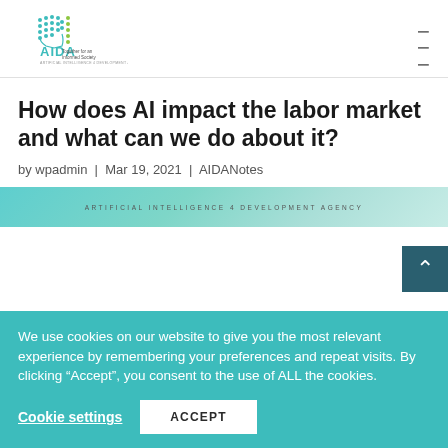[Figure (logo): AIDA logo with teal dot-matrix brain icon and text 'AIDA Together for an Informed Society, Artificial Intelligence 4 Development Agency']
How does AI impact the labor market and what can we do about it?
by wpadmin | Mar 19, 2021 | AIDANotes
[Figure (photo): Partial view of an AIDA document banner with teal gradient background and text ARTIFICIAL INTELLIGENCE 4 DEVELOPMENT AGENCY]
We use cookies on our website to give you the most relevant experience by remembering your preferences and repeat visits. By clicking “Accept”, you consent to the use of ALL the cookies.
Cookie settings
ACCEPT